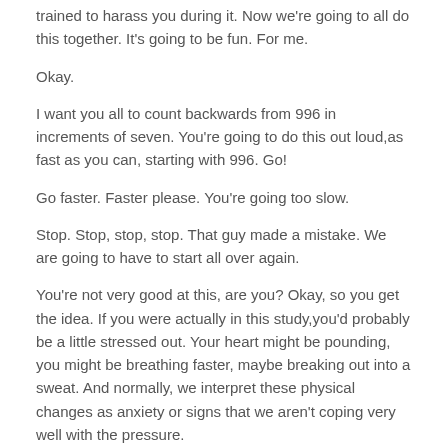trained to harass you during it. Now we're going to all do this together. It's going to be fun. For me.
Okay.
I want you all to count backwards from 996 in increments of seven. You're going to do this out loud,as fast as you can, starting with 996. Go!
Go faster. Faster please. You're going too slow.
Stop. Stop, stop, stop. That guy made a mistake. We are going to have to start all over again.
You're not very good at this, are you? Okay, so you get the idea. If you were actually in this study,you'd probably be a little stressed out. Your heart might be pounding, you might be breathing faster, maybe breaking out into a sweat. And normally, we interpret these physical changes as anxiety or signs that we aren't coping very well with the pressure.
But what if you viewed them instead as signs that your body was energized, was preparing you to meet this challenge? Now that is exactly what participants were told in a study conducted at Harvard University. Before they went through the social stress test, they were taught to rethink their stress response as